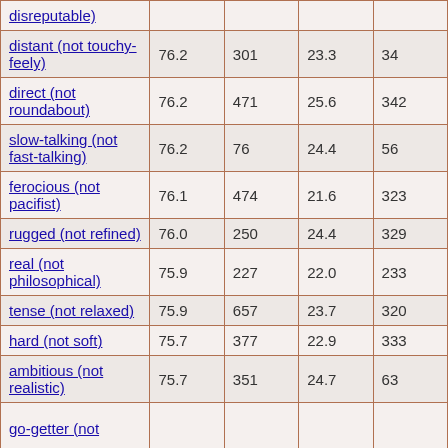| disreputable) |  |  |  |  |
| distant (not touchy-feely) | 76.2 | 301 | 23.3 | 34 |
| direct (not roundabout) | 76.2 | 471 | 25.6 | 342 |
| slow-talking (not fast-talking) | 76.2 | 76 | 24.4 | 56 |
| ferocious (not pacifist) | 76.1 | 474 | 21.6 | 323 |
| rugged (not refined) | 76.0 | 250 | 24.4 | 329 |
| real (not philosophical) | 75.9 | 227 | 22.0 | 233 |
| tense (not relaxed) | 75.9 | 657 | 23.7 | 320 |
| hard (not soft) | 75.7 | 377 | 22.9 | 333 |
| ambitious (not realistic) | 75.7 | 351 | 24.7 | 63 |
| go-getter (not |  |  |  |  |